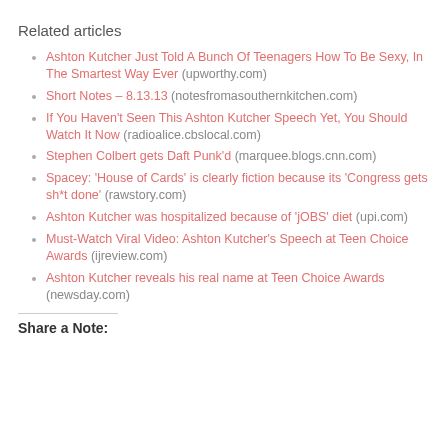Related articles
Ashton Kutcher Just Told A Bunch Of Teenagers How To Be Sexy, In The Smartest Way Ever (upworthy.com)
Short Notes – 8.13.13 (notesfromasouthernkitchen.com)
If You Haven't Seen This Ashton Kutcher Speech Yet, You Should Watch It Now (radioalice.cbslocal.com)
Stephen Colbert gets Daft Punk'd (marquee.blogs.cnn.com)
Spacey: 'House of Cards' is clearly fiction because its 'Congress gets sh*t done' (rawstory.com)
Ashton Kutcher was hospitalized because of 'jOBS' diet (upi.com)
Must-Watch Viral Video: Ashton Kutcher's Speech at Teen Choice Awards (ijreview.com)
Ashton Kutcher reveals his real name at Teen Choice Awards (newsday.com)
Share a Note: